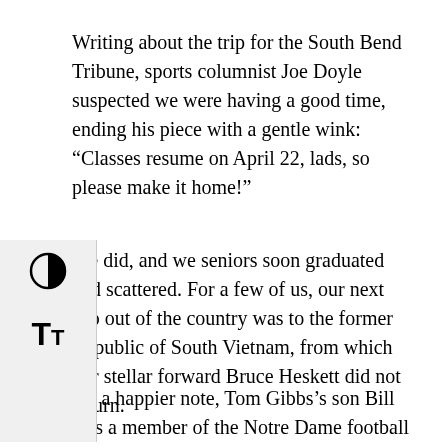Writing about the trip for the South Bend Tribune, sports columnist Joe Doyle suspected we were having a good time, ending his piece with a gentle wink: “Classes resume on April 22, lads, so please make it home!”
We did, and we seniors soon graduated and scattered. For a few of us, our next trip out of the country was to the former Republic of South Vietnam, from which our stellar forward Bruce Heskett did not return.
On a happier note, Tom Gibbs’s son Bill was a member of the Notre Dame football team that defeated Navy in Croke Park in Dublin in 1996